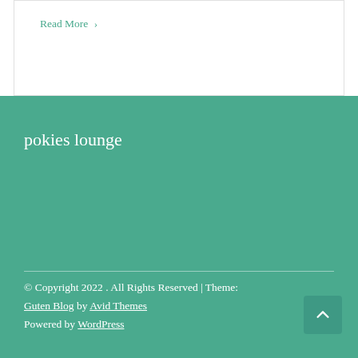Read More ›
pokies lounge
© Copyright 2022 . All Rights Reserved | Theme: Guten Blog by Avid Themes Powered by WordPress